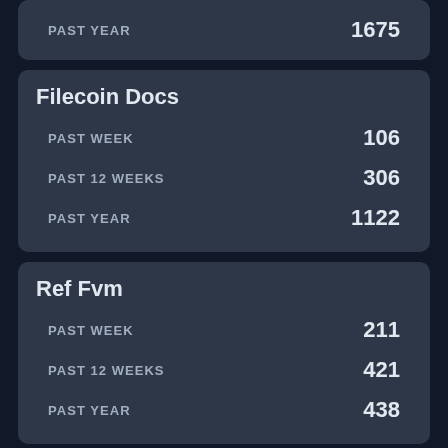|  |  |
| --- | --- |
| PAST YEAR | 1675 |
Filecoin Docs
|  |  |
| --- | --- |
| PAST WEEK | 106 |
| PAST 12 WEEKS | 306 |
| PAST YEAR | 1122 |
Ref Fvm
|  |  |
| --- | --- |
| PAST WEEK | 211 |
| PAST 12 WEEKS | 421 |
| PAST YEAR | 438 |
Lily